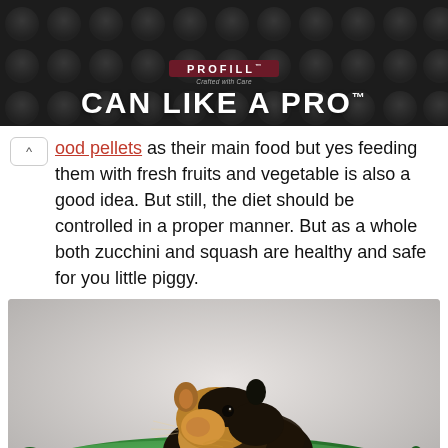[Figure (photo): Advertisement banner with dark background showing can lids pattern, PROFILL logo in maroon, and text 'CAN LIKE A PRO' in large white letters with trademark symbol]
ood pellets as their main food but yes feeding them with fresh fruits and vegetable is also a good idea. But still, the diet should be controlled in a proper manner. But as a whole both zucchini and squash are healthy and safe for you little piggy.
[Figure (photo): Photo of a guinea pig (black and tan colored) resting on top of a large green zucchini on a wooden surface with light grey background]